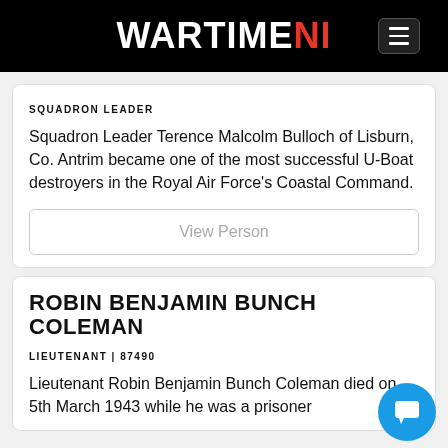WARTIMENI
SQUADRON LEADER
Squadron Leader Terence Malcolm Bulloch of Lisburn, Co. Antrim became one of the most successful U-Boat destroyers in the Royal Air Force's Coastal Command.
View Person
ROBIN BENJAMIN BUNCH COLEMAN
LIEUTENANT | 87490
Lieutenant Robin Benjamin Bunch Coleman died on 5th March 1943 while he was a prisoner